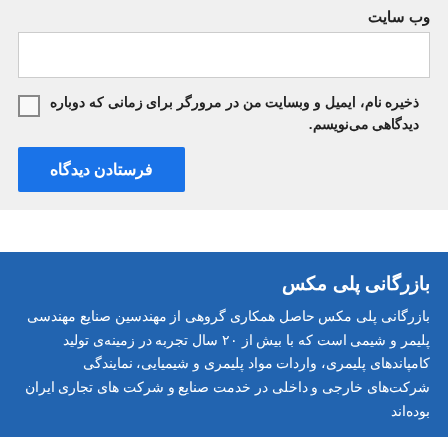وب سایت
[Figure (other): Empty text input box for website URL]
ذخیره نام، ایمیل و وبسایت من در مرورگر برای زمانی که دوباره دیدگاهی می‌نویسم.
فرستادن دیدگاه
بازرگانی پلی مکس
بازرگانی پلی مکس حاصل همکاری گروهی از مهندسین صنایع مهندسی پلیمر و شیمی است که با بیش از ۲۰ سال تجربه در زمینه‌ی تولید کامپاندهای پلیمری، واردات مواد پلیمری و شیمیایی، نمایندگی شرکت‌های خارجی و داخلی در خدمت صنایع و شرکت های تجاری ایران بوده‌اند